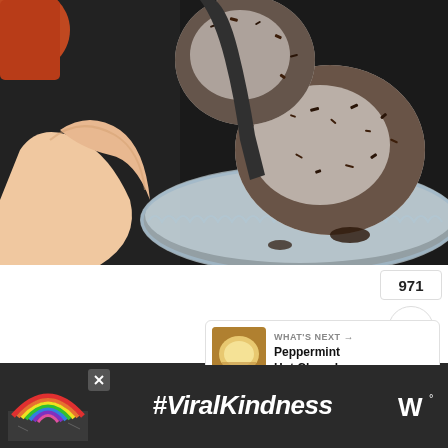[Figure (photo): Close-up photo of chocolate-covered cream desserts or hot chocolate bombs on a glass cake stand, with a hand holding one from the top left. Dark chocolate sprinkles coat white cream/marshmallow surfaces. Background shows dark fabric.]
[Figure (screenshot): UI overlay on white card showing: a teal heart/like button (971 likes), a share button with plus icon, and a 'WHAT'S NEXT' card showing a thumbnail and text 'Peppermint Hot Chocola...']
[Figure (photo): Advertisement banner at bottom with dark background showing a rainbow illustration, '#ViralKindness' hashtag in large white italic text, and a W° logo on the right. Close button (X) visible.]